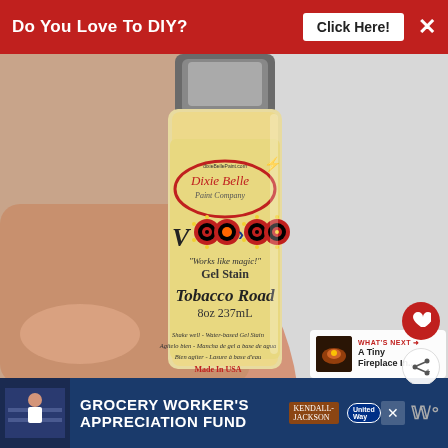Do You Love To DIY? Click Here! ×
[Figure (photo): A hand holding a bottle of Dixie Belle Paint Company 'Voodoo' Gel Stain in Tobacco Road color, 8oz 237ml. Label reads: Shake well - Water-based Gel Stain, Made in USA, Dixie Belle Paint Co. 813-909-1962, 8019 Ridge Road, 34668, FL]
[Figure (photo): Thumbnail image for 'WHAT'S NEXT' section: A Tiny Fireplace In...]
GROCERY WORKER'S APPRECIATION FUND